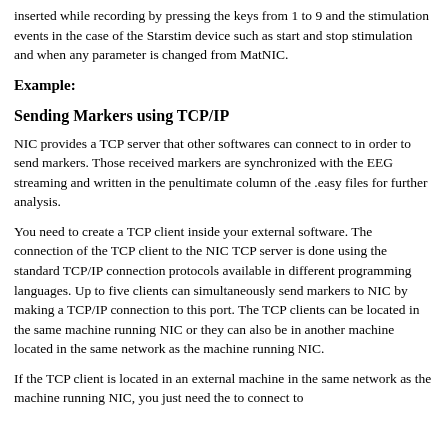inserted while recording by pressing the keys from 1 to 9 and the stimulation events in the case of the Starstim device such as start and stop stimulation and when any parameter is changed from MatNIC.
Example:
Sending Markers using TCP/IP
NIC provides a TCP server that other softwares can connect to in order to send markers. Those received markers are synchronized with the EEG streaming and written in the penultimate column of the .easy files for further analysis.
You need to create a TCP client inside your external software. The connection of the TCP client to the NIC TCP server is done using the standard TCP/IP connection protocols available in different programming languages. Up to five clients can simultaneously send markers to NIC by making a TCP/IP connection to this port. The TCP clients can be located in the same machine running NIC or they can also be in another machine located in the same network as the machine running NIC.
If the TCP client is located in an external machine in the same network as the machine running NIC, you just need the to connect to